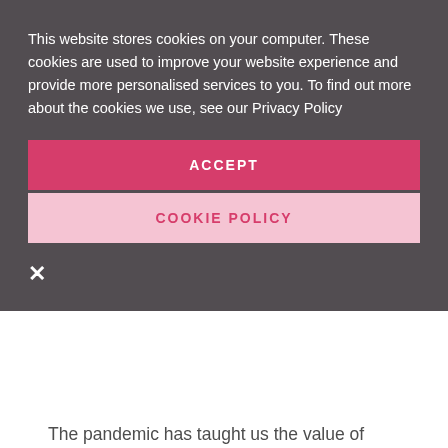This website stores cookies on your computer. These cookies are used to improve your website experience and provide more personalised services to you. To find out more about the cookies we use, see our Privacy Policy
ACCEPT
COOKIE POLICY
×
The pandemic has taught us the value of public health cannot be underestimated. A legacy of Covid-19 must be a proper review of how we approach public health and what we ask of the NHS.